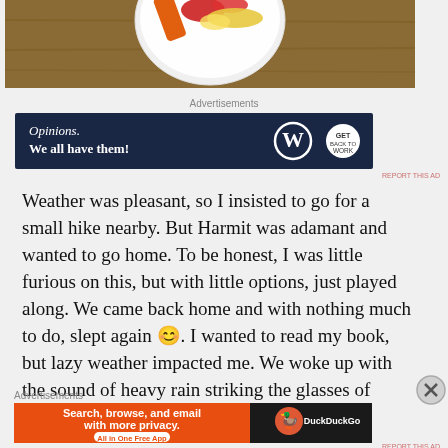[Figure (photo): Top portion of a photo showing a white bowl with food (fruit/salad) on a wooden table surface, partially cropped]
Advertisements
[Figure (other): Advertisement banner with dark navy background showing text 'Opinions. We all have them!' with WordPress and another logo]
REPORT THIS AD
Weather was pleasant, so I insisted to go for a small hike nearby. But Harmit was adamant and wanted to go home. To be honest, I was little furious on this, but with little options, just played along. We came back home and with nothing much to do, slept again 😊. I wanted to read my book, but lazy weather impacted me. We woke up with the sound of heavy rain striking the glasses of balcony-
Advertisements
[Figure (other): Advertisement banner with orange left section reading 'Search, browse, and email with more privacy. All in One Free App' and dark right section with DuckDuckGo logo]
REPORT THIS AD